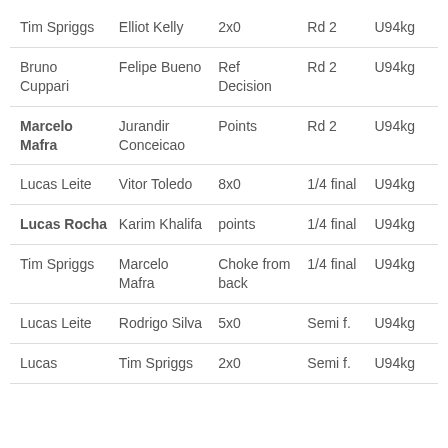| Tim Spriggs | Elliot Kelly | 2x0 | Rd 2 | U94kg |
| Bruno Cuppari | Felipe Bueno | Ref Decision | Rd 2 | U94kg |
| Marcelo Mafra | Jurandir Conceicao | Points | Rd 2 | U94kg |
| Lucas Leite | Vitor Toledo | 8x0 | 1/4 final | U94kg |
| Lucas Rocha | Karim Khalifa | points | 1/4 final | U94kg |
| Tim Spriggs | Marcelo Mafra | Choke from back | 1/4 final | U94kg |
| Lucas Leite | Rodrigo Silva | 5x0 | Semi f. | U94kg |
| Lucas | Tim Spriggs | 2x0 | Semi f. | U94kg |